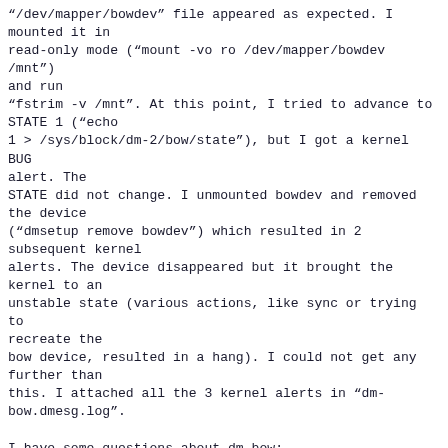"/dev/mapper/bowdev" file appeared as expected. I mounted it in read-only mode ("mount -vo ro /dev/mapper/bowdev /mnt") and run "fstrim -v /mnt". At this point, I tried to advance to STATE 1 ("echo 1 > /sys/block/dm-2/bow/state"), but I got a kernel BUG alert. The STATE did not change. I unmounted bowdev and removed the device ("dmsetup remove bowdev") which resulted in 2 subsequent kernel alerts. The device disappeared but it brought the kernel to an unstable state (various actions, like sync or trying to recreate the bow device, resulted in a hang). I could not get any further than this. I attached all the 3 kernel alerts in "dm-bow.dmesg.log".

I have some questions about dm-bow:
- How file system agnostic this feature is planned to be? While it is designed with ext4 in mind, is it going to work when used over other file systems, like FAT or BTRFS for example?
- Especially that BTRFS uses a CoW mechanism for even overwriting files (overwritten segments are written to a free area